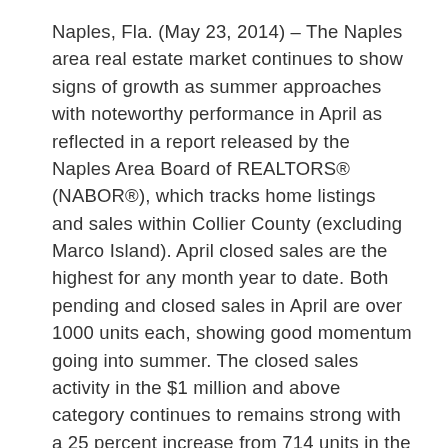Naples, Fla. (May 23, 2014) – The Naples area real estate market continues to show signs of growth as summer approaches with noteworthy performance in April as reflected in a report released by the Naples Area Board of REALTORS® (NABOR®), which tracks home listings and sales within Collier County (excluding Marco Island). April closed sales are the highest for any month year to date. Both pending and closed sales in April are over 1000 units each, showing good momentum going into summer. The closed sales activity in the $1 million and above category continues to remains strong with a 25 percent increase from 714 units in the 12-months ending April 2013 to 951 units for the 12-months ending April 2014.